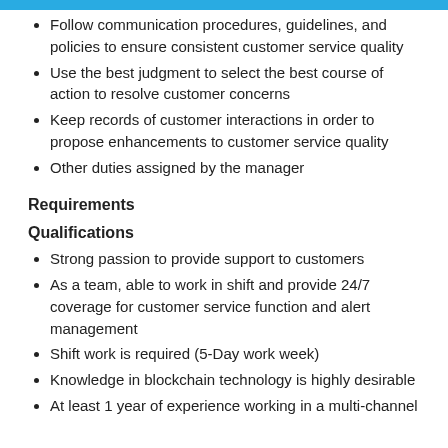Follow communication procedures, guidelines, and policies to ensure consistent customer service quality
Use the best judgment to select the best course of action to resolve customer concerns
Keep records of customer interactions in order to propose enhancements to customer service quality
Other duties assigned by the manager
Requirements
Qualifications
Strong passion to provide support to customers
As a team, able to work in shift and provide 24/7 coverage for customer service function and alert management
Shift work is required (5-Day work week)
Knowledge in blockchain technology is highly desirable
At least 1 year of experience working in a multi-channel